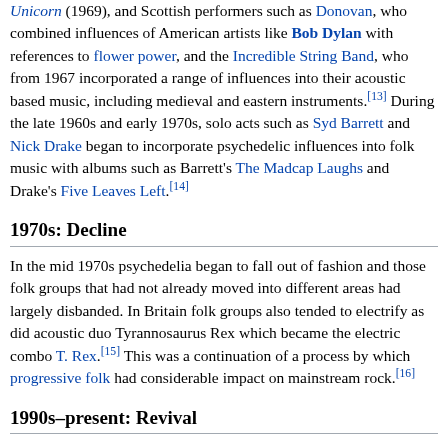Unicorn (1969), and Scottish performers such as Donovan, who combined influences of American artists like Bob Dylan with references to flower power, and the Incredible String Band, who from 1967 incorporated a range of influences into their acoustic based music, including medieval and eastern instruments.[13] During the late 1960s and early 1970s, solo acts such as Syd Barrett and Nick Drake began to incorporate psychedelic influences into folk music with albums such as Barrett's The Madcap Laughs and Drake's Five Leaves Left.[14]
1970s: Decline
In the mid 1970s psychedelia began to fall out of fashion and those folk groups that had not already moved into different areas had largely disbanded. In Britain folk groups also tended to electrify as did acoustic duo Tyrannosaurus Rex which became the electric combo T. Rex.[15] This was a continuation of a process by which progressive folk had considerable impact on mainstream rock.[16]
1990s–present: Revival
See also: New Weird America
In broader terms, the renewal of folk music in the late 1990s, due to